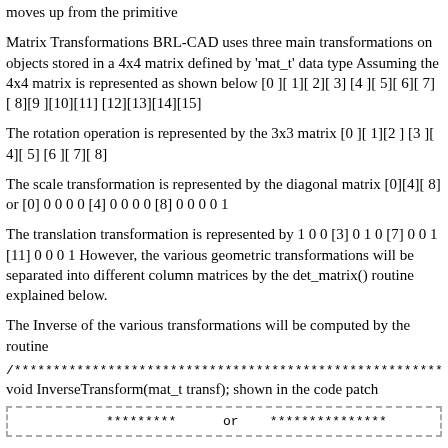moves up from the primitive
Matrix Transformations BRL-CAD uses three main transformations on objects stored in a 4x4 matrix defined by 'mat_t' data type Assuming the 4x4 matrix is represented as shown below [0 ][ 1][ 2][ 3] [4 ][ 5][ 6][ 7] [ 8][9 ][10][11] [12][13][14][15]
The rotation operation is represented by the 3x3 matrix [0 ][ 1][2 ] [3 ][ 4][ 5] [6 ][ 7][ 8]
The scale transformation is represented by the diagonal matrix [0][4][ 8] or [0] 0 0 0 0 [4] 0 0 0 0 [8] 0 0 0 0 1
The translation transformation is represented by 1 0 0 [3] 0 1 0 [7] 0 0 1 [11] 0 0 0 1 However, the various geometric transformations will be separated into different column matrices by the det_matrix() routine explained below.
The Inverse of the various transformations will be computed by the routine
/********************************************************
void InverseTransform(mat_t transf); shown in the code patch
*********      or    ***************